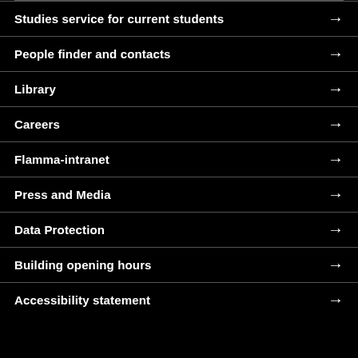Studies service for current students
People finder and contacts
Library
Careers
Flamma-intranet
Press and Media
Data Protection
Building opening hours
Accessibility statement